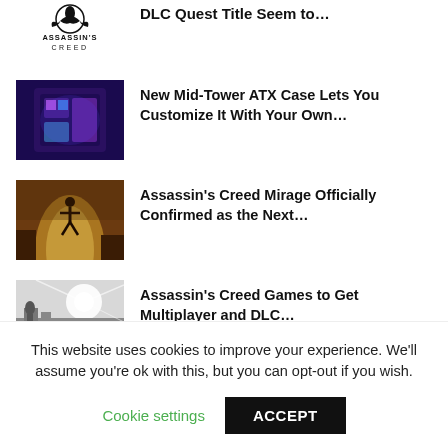[Figure (logo): Assassin's Creed logo with eagle emblem above text]
DLC Quest Title Seem to…
[Figure (photo): Photo of a mid-tower ATX PC case with colorful lighting]
New Mid-Tower ATX Case Lets You Customize It With Your Own…
[Figure (photo): Photo of Assassin's Creed Mirage game artwork showing a silhouette leaping in front of a glowing arch]
Assassin's Creed Mirage Officially Confirmed as the Next…
[Figure (photo): Photo of Assassin's Creed game scene with statues and sunlit city]
Assassin's Creed Games to Get Multiplayer and DLC…
[Figure (photo): Partial photo, cut off]
Deathloop, Assassin's Creed Origins…
This website uses cookies to improve your experience. We'll assume you're ok with this, but you can opt-out if you wish.
Cookie settings
ACCEPT